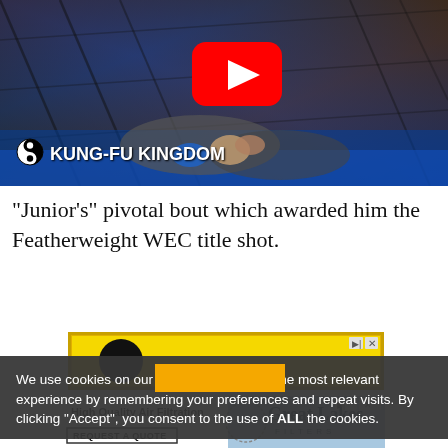[Figure (screenshot): Video thumbnail showing MMA fighters in a cage, with KUNG-FU KINGDOM logo overlay and YouTube play button]
“Junior’s” pivotal bout which awarded him the Featherweight WEC title shot.
[Figure (screenshot): Advertisement banner with yellow background and silhouette figure]
We use cookies on our website to give you the most relevant experience by remembering your preferences and repeat visits. By clicking “Accept”, you consent to the use of ALL the cookies.
[Figure (screenshot): Great Lakes Filters advertisement - High Quality Air Filtration, REQUEST A QUOTE]